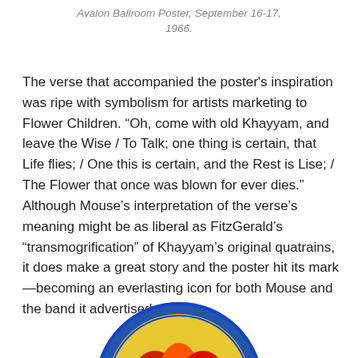Avalon Ballroom Poster, September 16-17, 1966.
The verse that accompanied the poster's inspiration was ripe with symbolism for artists marketing to Flower Children. “Oh, come with old Khayyam, and leave the Wise / To Talk; one thing is certain, that Life flies; / One this is certain, and the Rest is Lise; / The Flower that once was blown for ever dies.” Although Mouse’s interpretation of the verse’s meaning might be as liberal as FitzGerald’s “transmogrification” of Khayyam’s original quatrains, it does make a great story and the poster hit its mark—becoming an everlasting icon for both Mouse and the band it advertised.
[Figure (illustration): Partial view of a colorful circular concert poster with psychedelic lettering in red, orange, and yellow, with a blue border, cropped at the bottom of the page.]